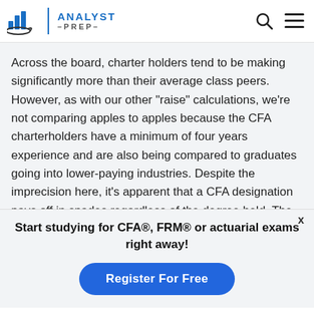Analyst Prep logo with navigation icons
Across the board, charter holders tend to be making significantly more than their average class peers. However, as with our other “raise” calculations, we’re not comparing apples to apples because the CFA charterholders have a minimum of four years experience and are also being compared to graduates going into lower-paying industries. Despite the imprecision here, it’s apparent that a CFA designation pays off in spades regardless of the degree held. The payoff is most significant for Bachelor of Arts graduates, somewhat unsurprising given the relatively
Start studying for CFA®, FRM® or actuarial exams right away!
Register For Free